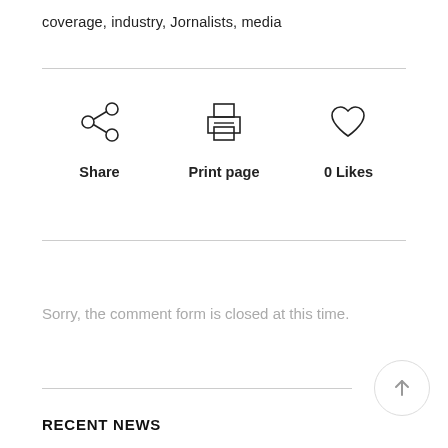coverage, industry, Jornalists, media
[Figure (infographic): Three action icons in a row: Share (network/share icon), Print page (printer icon), 0 Likes (heart icon), each with a bold label beneath]
Sorry, the comment form is closed at this time.
RECENT NEWS